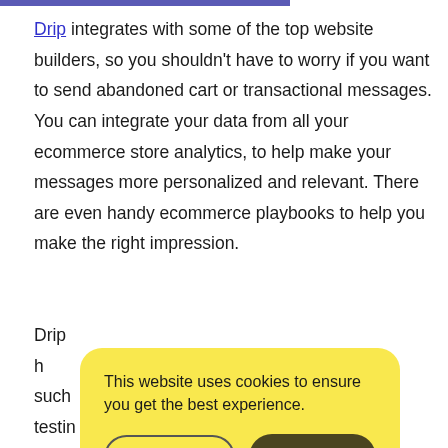Drip integrates with some of the top website builders, so you shouldn't have to worry if you want to send abandoned cart or transactional messages. You can integrate your data from all your ecommerce store analytics, to help make your messages more personalized and relevant. There are even handy ecommerce playbooks to help you make the right impression.
Drip h[...partially obscured by cookie banner...]o, such [...] r testin[...] hat suppo[...] e lookin[...]
[Figure (screenshot): Cookie consent banner with yellow rounded rectangle background. Text reads: 'This website uses cookies to ensure you get the best experience.' Two buttons: 'Learn more' (outlined) and 'OK' (dark filled).]